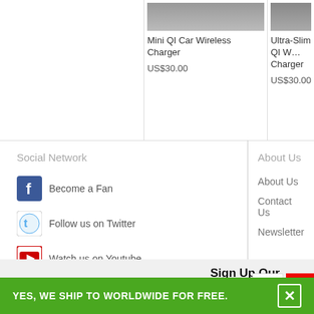[Figure (photo): Product image of Mini QI Car Wireless Charger (partial, cropped at top)]
Mini QI Car Wireless Charger
US$30.00
[Figure (photo): Product image of Ultra-Slim QI Wireless Charger (partially visible, cropped)]
Ultra-Slim QI Wireless Charger
US$30.00
Social Network
Become a Fan
Follow us on Twitter
Watch us on Youtube
About Us
About Us
Contact Us
Newsletter
Sign Up Our Newsletter
YES, WE SHIP TO WORLDWIDE FOR FREE.